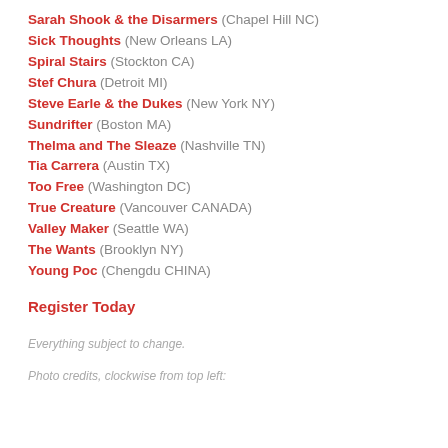Sarah Shook & the Disarmers (Chapel Hill NC)
Sick Thoughts (New Orleans LA)
Spiral Stairs (Stockton CA)
Stef Chura (Detroit MI)
Steve Earle & the Dukes (New York NY)
Sundrifter (Boston MA)
Thelma and The Sleaze (Nashville TN)
Tia Carrera (Austin TX)
Too Free (Washington DC)
True Creature (Vancouver CANADA)
Valley Maker (Seattle WA)
The Wants (Brooklyn NY)
Young Poc (Chengdu CHINA)
Register Today
Everything subject to change.
Photo credits, clockwise from top left: